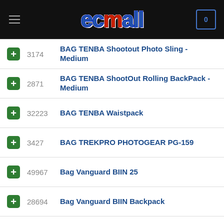[Figure (logo): EC Mall logo on dark header with hamburger menu and cart icon]
3174 BAG TENBA Shootout Photo Sling - Medium
2871 BAG TENBA ShootOut Rolling BackPack - Medium
32223 BAG TENBA Waistpack
3427 BAG TREKPRO PHOTOGEAR PG-159
49967 Bag Vanguard BIIN 25
28694 Bag Vanguard BIIN Backpack
34417 Bag Vanguard Supreme Series
47294 Bag Vanguard Sydney 22
39963 Bag Winer Shoulder Rover 32